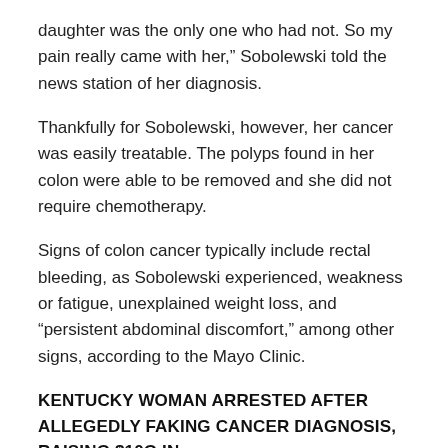daughter was the only one who had not. So my pain really came with her,” Sobolewski told the news station of her diagnosis.
Thankfully for Sobolewski, however, her cancer was easily treatable. The polyps found in her colon were able to be removed and she did not require chemotherapy.
Signs of colon cancer typically include rectal bleeding, as Sobolewski experienced, weakness or fatigue, unexplained weight loss, and “persistent abdominal discomfort,” among other signs, according to the Mayo Clinic.
KENTUCKY WOMAN ARRESTED AFTER ALLEGEDLY FAKING CANCER DIAGNOSIS, RAISING $10G IN